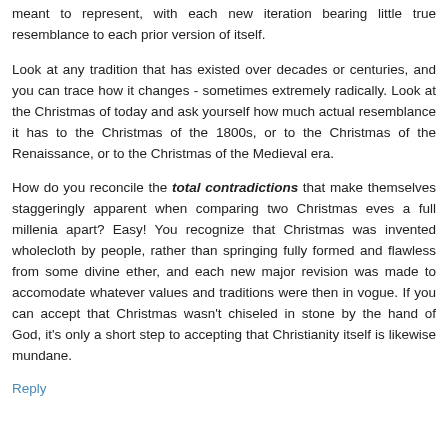meant to represent, with each new iteration bearing little true resemblance to each prior version of itself.
Look at any tradition that has existed over decades or centuries, and you can trace how it changes - sometimes extremely radically. Look at the Christmas of today and ask yourself how much actual resemblance it has to the Christmas of the 1800s, or to the Christmas of the Renaissance, or to the Christmas of the Medieval era.
How do you reconcile the total contradictions that make themselves staggeringly apparent when comparing two Christmas eves a full millenia apart? Easy! You recognize that Christmas was invented wholecloth by people, rather than springing fully formed and flawless from some divine ether, and each new major revision was made to accomodate whatever values and traditions were then in vogue. If you can accept that Christmas wasn't chiseled in stone by the hand of God, it's only a short step to accepting that Christianity itself is likewise mundane.
Reply